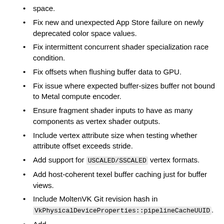space.
Fix new and unexpected App Store failure on newly deprecated color space values.
Fix intermittent concurrent shader specialization race condition.
Fix offsets when flushing buffer data to GPU.
Fix issue where expected buffer-sizes buffer not bound to Metal compute encoder.
Ensure fragment shader inputs to have as many components as vertex shader outputs.
Include vertex attribute size when testing whether attribute offset exceeds stride.
Add support for USCALED/SSCALED vertex formats.
Add host-coherent texel buffer caching just for buffer views.
Include MoltenVK Git revision hash in VkPhysicalDeviceProperties::pipelineCacheUUID.
Add MVKPhysicalDeviceMetalFeatures::vertexStrideAlignment to track Metal vertex binding stride alignment.
Add